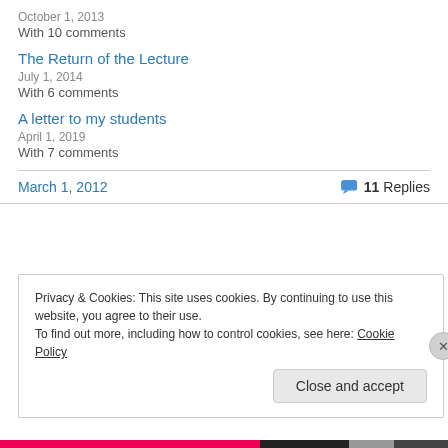October 1, 2013
With 10 comments
The Return of the Lecture
July 1, 2014
With 6 comments
A letter to my students
April 1, 2019
With 7 comments
March 1, 2012
11 Replies
Privacy & Cookies: This site uses cookies. By continuing to use this website, you agree to their use.
To find out more, including how to control cookies, see here: Cookie Policy
Close and accept